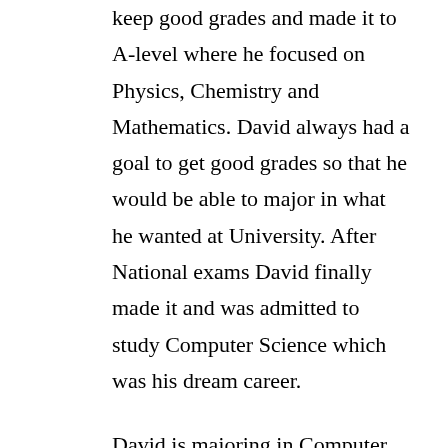keep good grades and made it to A-level where he focused on Physics, Chemistry and Mathematics. David always had a goal to get good grades so that he would be able to major in what he wanted at University. After National exams David finally made it and was admitted to study Computer Science which was his dream career.
David is majoring in Computer Science at the University Of Rwanda. His current goal is to do his best with the courses he's taking. His future goal is to become a professional Software Engineer, where he will be able to help his country's development, assist his family in solving different problems and ensure their